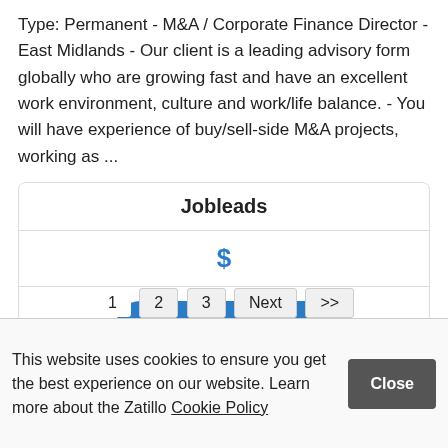Type: Permanent - M&A / Corporate Finance Director - East Midlands - Our client is a leading advisory form globally who are growing fast and have an excellent work environment, culture and work/life balance. - You will have experience of buy/sell-side M&A projects, working as ...
| Jobleads |
| $ |
| VIEW JOB |
1  2  3  Next  >>
This website uses cookies to ensure you get the best experience on our website. Learn more about the Zatillo Cookie Policy